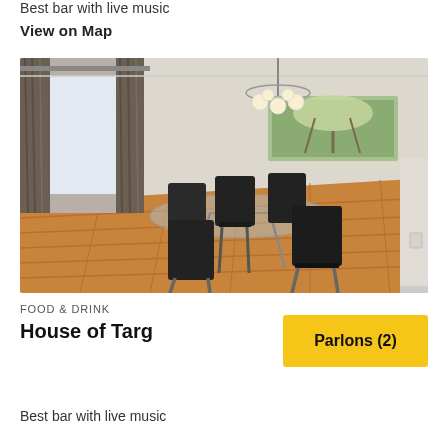Best bar with live music
View on Map
[Figure (photo): Dining room interior with hardwood floors, glass-top table, black chairs, chandelier, large window with curtains, and wall artwork]
FOOD & DRINK
House of Targ
Best bar with live music
Parlons (2)